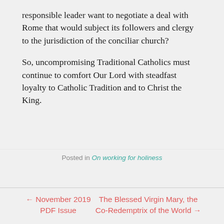responsible leader want to negotiate a deal with Rome that would subject its followers and clergy to the jurisdiction of the conciliar church?
So, uncompromising Traditional Catholics must continue to comfort Our Lord with steadfast loyalty to Catholic Tradition and to Christ the King.
Posted in On working for holiness
← November 2019 PDF Issue
The Blessed Virgin Mary, the Co-Redemptrix of the World →